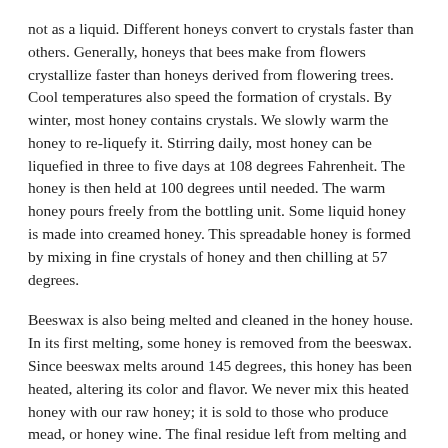not as a liquid. Different honeys convert to crystals faster than others. Generally, honeys that bees make from flowers crystallize faster than honeys derived from flowering trees. Cool temperatures also speed the formation of crystals. By winter, most honey contains crystals. We slowly warm the honey to re-liquefy it. Stirring daily, most honey can be liquefied in three to five days at 108 degrees Fahrenheit. The honey is then held at 100 degrees until needed. The warm honey pours freely from the bottling unit. Some liquid honey is made into creamed honey. This spreadable honey is formed by mixing in fine crystals of honey and then chilling at 57 degrees.
Beeswax is also being melted and cleaned in the honey house. In its first melting, some honey is removed from the beeswax. Since beeswax melts around 145 degrees, this honey has been heated, altering its color and flavor. We never mix this heated honey with our raw honey; it is sold to those who produce mead, or honey wine. The final residue left from melting and straining beeswax, called “slumgum,” is shown in the photo. It is composed primarily of propolis bee glue, pollen, and silk from bee pupae cocoons. --Richard